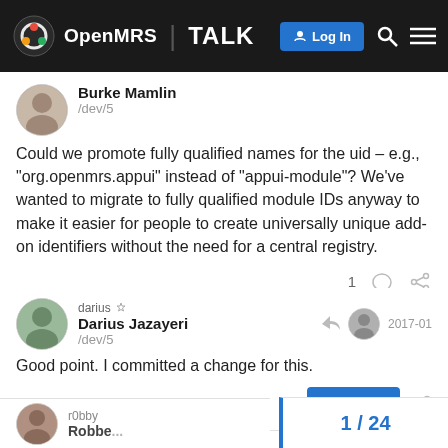OpenMRS TALK — Log In
Burke Mamlin
/dev/5
Could we promote fully qualified names for the uid – e.g., "org.openmrs.appui" instead of "appui-module"? We've wanted to migrate to fully qualified module IDs anyway to make it easier for people to create universally unique add-on identifiers without the need for a central registry.
darius
Darius Jazayeri
/dev/5
2017-01
Good point. I committed a change for this.
r0bby
1 / 24